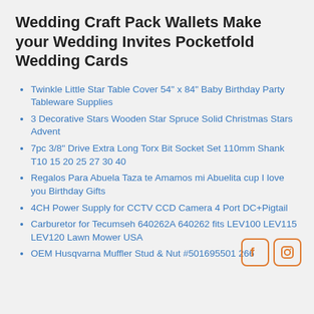Wedding Craft Pack Wallets Make your Wedding Invites Pocketfold Wedding Cards
Twinkle Little Star Table Cover 54" x 84" Baby Birthday Party Tableware Supplies
3 Decorative Stars Wooden Star Spruce Solid Christmas Stars Advent
7pc 3/8" Drive Extra Long Torx Bit Socket Set 110mm Shank T10 15 20 25 27 30 40
Regalos Para Abuela Taza te Amamos mi Abuelita cup I love you Birthday Gifts
4CH Power Supply for CCTV CCD Camera 4 Port DC+Pigtail
Carburetor for Tecumseh 640262A 640262 fits LEV100 LEV115 LEV120 Lawn Mower USA
OEM Husqvarna Muffler Stud & Nut #501695501 266